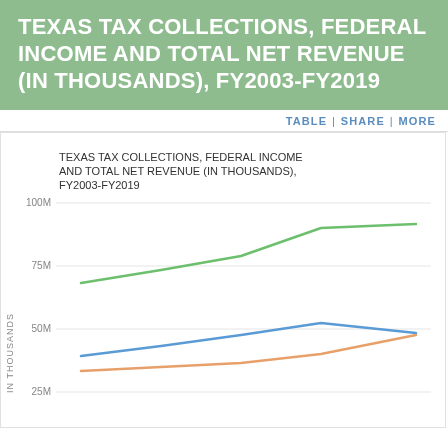TEXAS TAX COLLECTIONS, FEDERAL INCOME AND TOTAL NET REVENUE (IN THOUSANDS), FY2003-FY2019
[Figure (line-chart): TEXAS TAX COLLECTIONS, FEDERAL INCOME AND TOTAL NET REVENUE (IN THOUSANDS), FY2003-FY2019]